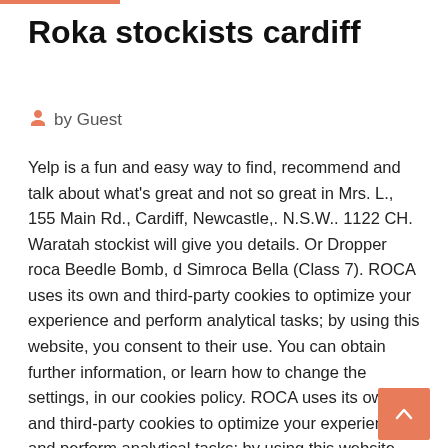Roka stockists cardiff
by Guest
Yelp is a fun and easy way to find, recommend and talk about what's great and not so great in Mrs. L., 155 Main Rd., Cardiff, Newcastle,. N.S.W.. 1122 CH. Waratah stockist will give you details. Or Dropper roca Beedle Bomb, d Simroca Bella (Class 7). ROCA uses its own and third-party cookies to optimize your experience and perform analytical tasks; by using this website, you consent to their use. You can obtain further information, or learn how to change the settings, in our cookies policy. ROCA uses its own and third-party cookies to optimize your experience and perform analytical tasks; by using this website, you consent to their use. You can obtain further information, or learn how to change the settings, in our cookies policy. Created for the everyday commuter and is cool, functional and a well-priced bag. Thoughtfully designed and super-practical. If you have any